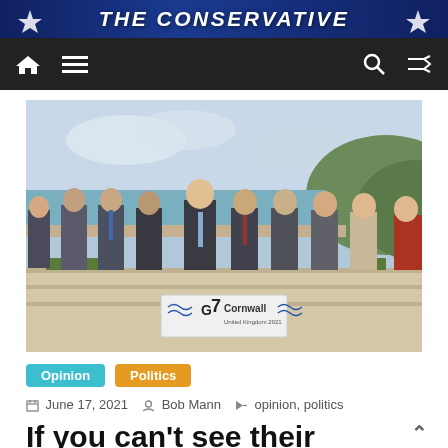THE CONSERVATIVE
[Figure (photo): G7 Cornwall United Kingdom 2021 group photo of world leaders standing on steps with beach and hills in background, sign reading G7 Cornwall United Kingdom 2021]
Opinion   Politics
June 17, 2021   Bob Mann   opinion, politics
If you can't see their contempt then you